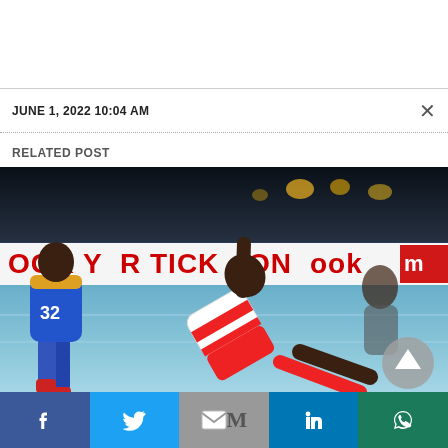JUNE 1, 2022 10:04 AM
RELATED POST
[Figure (photo): Kabaddi match action photo showing two players on a blue court. Player in blue jersey (#32) seen from behind on the left, player in white and red jersey falling/diving in the center-right. Banner in background reads 'BOOK YOUR TICKET ON BOOKMYSHOW'. Arena crowd visible in dark background.]
Facebook | Twitter | Gmail | LinkedIn | WhatsApp